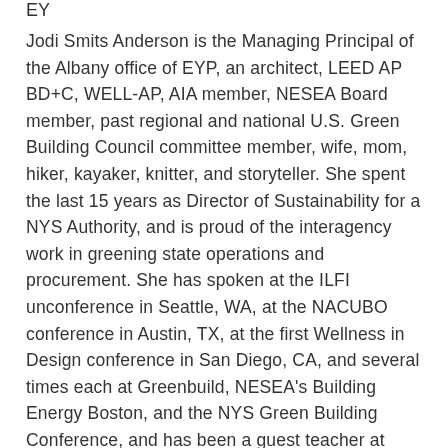EY
Jodi Smits Anderson is the Managing Principal of the Albany office of EYP, an architect, LEED AP BD+C, WELL-AP, AIA member, NESEA Board member, past regional and national U.S. Green Building Council committee member, wife, mom, hiker, kayaker, knitter, and storyteller. She spent the last 15 years as Director of Sustainability for a NYS Authority, and is proud of the interagency work in greening state operations and procurement. She has spoken at the ILFI unconference in Seattle, WA, at the NACUBO conference in Austin, TX, at the first Wellness in Design conference in San Diego, CA, and several times each at Greenbuild, NESEA's Building Energy Boston, and the NYS Green Building Conference, and has been a guest teacher at SUNY ESF, RPI, Ithaca College, NYU, Cornell, and SUNY Albany. She is a NY Energy Code trainer, the 2018 recipient of the Green Building Advocate award, and has assisted in research and writing for Project Drawdown, which cites the 100 market-proven ways we already have in our toolkit to